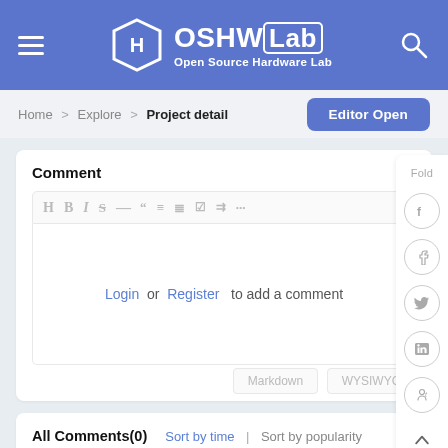[Figure (logo): OSHWLab Open Source Hardware Lab logo with hexagon icon on blue header bar]
Home > Explore > Project detail
Editor Open
Comment
Login or Register to add a comment
Markdown    WYSIWYG
All Comments(0)
Sort by time | Sort by popularity